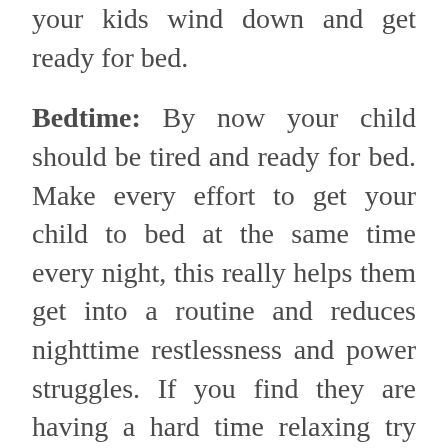your kids wind down and get ready for bed.
Bedtime: By now your child should be tired and ready for bed. Make every effort to get your child to bed at the same time every night, this really helps them get into a routine and reduces nighttime restlessness and power struggles. If you find they are having a hard time relaxing try deep breathing exercises, a gentle massage or back rub.
You made it through the day, hooray!!! Once they are in bed,